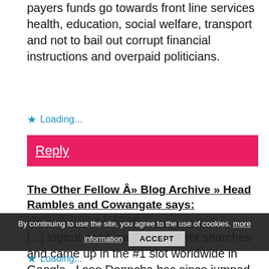payers funds go towards front line services health, education, social welfare, transport and not to bail out corrupt financial instructions and overpaid politicians.
★ Loading...
Reply
The Other Fellow Â» Blog Archive » Head Rambles and Cowangate says:
March 26, 2009 at 12:03 pm
[...] logical combinations of other searches and came up in the #1 slot worldwide in Google.  I see Donncha has since jumped to the top of the queue in most, but the transit top two [...]
By continuing to use the site, you agree to the use of cookies. more information   ACCEPT
★ Loading...